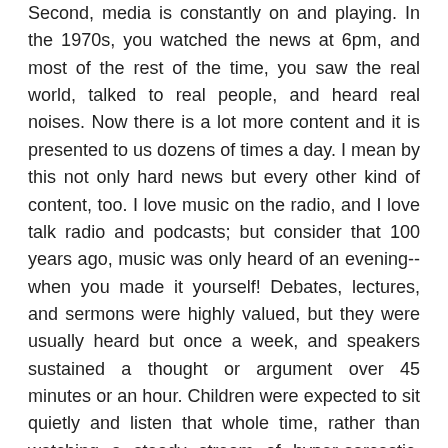Second, media is constantly on and playing. In the 1970s, you watched the news at 6pm, and most of the rest of the time, you saw the real world, talked to real people, and heard real noises. Now there is a lot more content and it is presented to us dozens of times a day. I mean by this not only hard news but every other kind of content, too. I love music on the radio, and I love talk radio and podcasts; but consider that 100 years ago, music was only heard of an evening--when you made it yourself! Debates, lectures, and sermons were highly valued, but they were usually heard but once a week, and speakers sustained a thought or argument over 45 minutes or an hour. Children were expected to sit quietly and listen that whole time, rather than watching a steady stream of hyper-sarcastic, jump-cut videos.
Third, the reinforcement schedule has become much, much shorter. When I was a kid with a paper route, I used to sit and read the daily newspaper for 45 minutes. Reading an interesting story became reinforcing to me, and m...